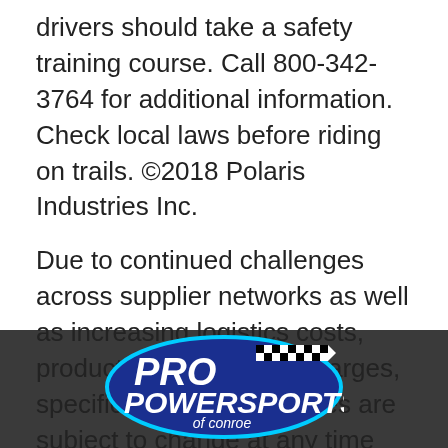drivers should take a safety training course. Call 800-342-3764 for additional information. Check local laws before riding on trails. ©2018 Polaris Industries Inc.
Due to continued challenges across supplier networks as well as increasing logistics costs, product pricing, freight charges, specifications, and features are subject to change at any time without prior notice. Please confirm all information with your local dealership.
[Figure (logo): Pro Powersports of Conroe logo — dark blue oval with cyan border, white italic bold text reading PRO POWERSPORTS with checkered flag graphic, and 'of conroe' in smaller italic text below]